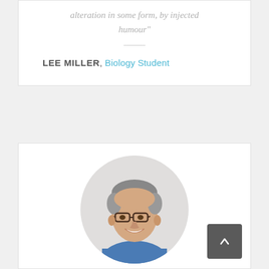alteration in some form, by injected humour"
LEE MILLER, Biology Student
[Figure (photo): Circular profile photo of a middle-aged man with grey hair, glasses, smiling, wearing a blue shirt]
[Figure (other): Back to top button with upward chevron arrow on dark grey background]